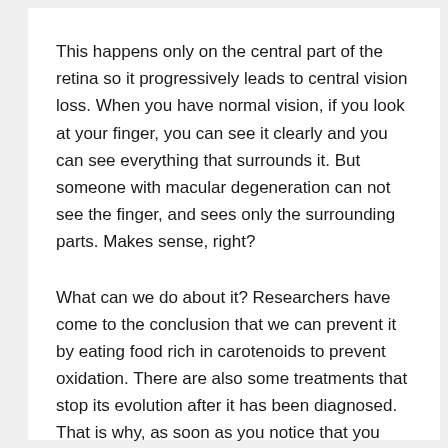This happens only on the central part of the retina so it progressively leads to central vision loss. When you have normal vision, if you look at your finger, you can see it clearly and you can see everything that surrounds it. But someone with macular degeneration can not see the finger, and sees only the surrounding parts. Makes sense, right?
What can we do about it? Researchers have come to the conclusion that we can prevent it by eating food rich in carotenoids to prevent oxidation. There are also some treatments that stop its evolution after it has been diagnosed. That is why, as soon as you notice that you have vision problems, you should make an appointment with an ophthalmologist.